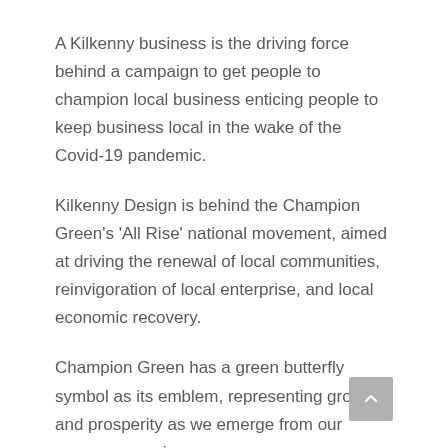A Kilkenny business is the driving force behind a campaign to get people to champion local business enticing people to keep business local in the wake of the Covid-19 pandemic.
Kilkenny Design is behind the Champion Green's 'All Rise' national movement, aimed at driving the renewal of local communities, reinvigoration of local enterprise, and local economic recovery.
Champion Green has a green butterfly symbol as its emblem, representing growth and prosperity as we emerge from our cocoon, organisers say.
Kilkenny Design, supported by Visa in association